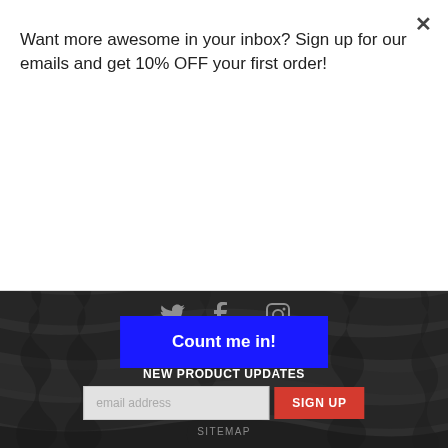Want more awesome in your inbox? Sign up for our emails and get 10% OFF your first order!
Count me in!
Atlanta Falcons Lava Leggings
$33.99
[Figure (other): Social media icons: Twitter bird, Facebook f, Instagram camera]
GET EXCLUSIVE DEALS & NEW PRODUCT UPDATES
email address
SIGN UP
SITEMAP